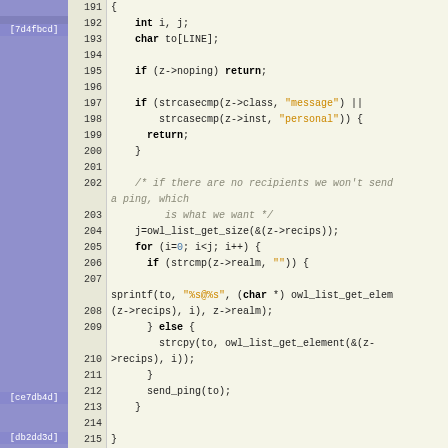[Figure (screenshot): Source code viewer showing C code lines 191-218 with line numbers, syntax highlighting (keywords bold, strings orange, comments italic gray), and a purple sidebar with commit hash labels [7d4fbcd], [ce7db4d], [db2dd3d]]